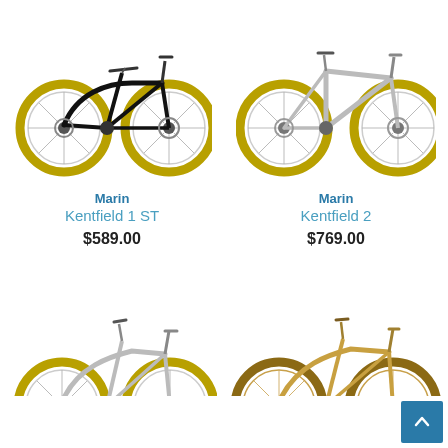[Figure (photo): Marin Kentfield 1 ST bicycle in black with tan/cream tires, step-through frame, disc brakes]
[Figure (photo): Marin Kentfield 2 bicycle in silver/gray with tan/cream tires, diamond frame, disc brakes]
Marin
Kentfield 1 ST
$589.00
Marin
Kentfield 2
$769.00
[Figure (photo): Bicycle in silver/gray with tan tires, step-through frame, partial view cropped at bottom]
[Figure (photo): Bicycle in gold/tan color with brown tires, step-through frame, partial view cropped at bottom]